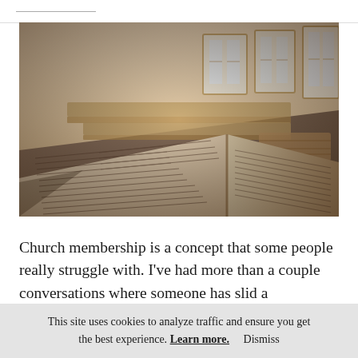[Figure (photo): Sepia-toned photograph of an open Bible resting on a surface inside a church, with wooden pews and windows visible in the background]
Church membership is a concept that some people really struggle with. I've had more than a couple conversations where someone has slid a
This site uses cookies to analyze traffic and ensure you get the best experience. Learn more. Dismiss